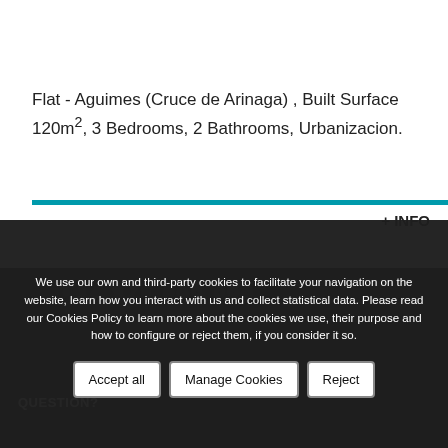Flat - Aguimes (Cruce de Arinaga) , Built Surface 120m², 3 Bedrooms, 2 Bathrooms, Urbanizacion.
+ INFO
We use our own and third-party cookies to facilitate your navigation on the website, learn how you interact with us and collect statistical data. Please read our Cookies Policy to learn more about the cookies we use, their purpose and how to configure or reject them, if you consider it so.
Accept all
Manage Cookies
Reject
QUESTION?